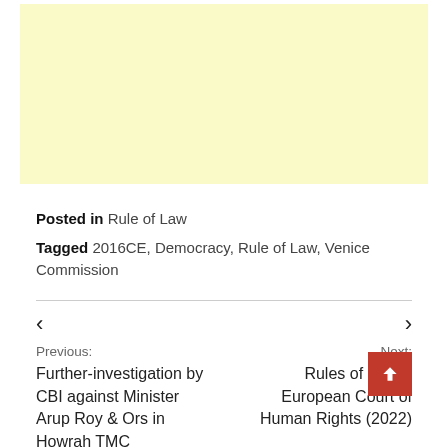[Figure (other): Light yellow advertisement or placeholder block]
Posted in Rule of Law
Tagged 2016CE, Democracy, Rule of Law, Venice Commission
Previous: Further-investigation by CBI against Minister Arup Roy & Ors in Howrah TMC
Next: Rules of Court-European Court of Human Rights (2022)